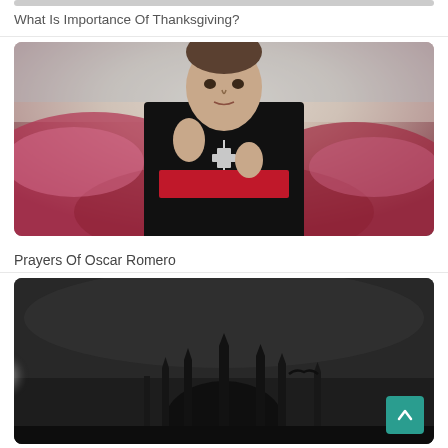What Is Importance Of Thanksgiving?
[Figure (illustration): Painted portrait of a Catholic bishop/archbishop in black vestments with red sash, holding a cross pendant, raising hand in blessing gesture, against a dramatic red cloudy sky background]
Prayers Of Oscar Romero
[Figure (photo): Dark, dramatic black and white/monochrome silhouette of a mosque (Blue Mosque / Sultanahmet) with multiple minarets against a dark stormy sky, with a bright light source on the left and silhouette of a bird in flight in the foreground]